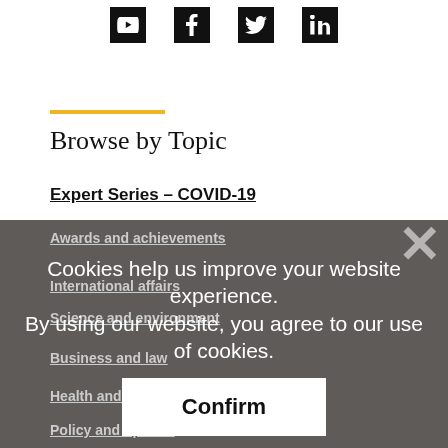[Figure (illustration): Social media icons (YouTube, Facebook, Twitter/X, LinkedIn) as dark square buttons at the top of the page]
Browse by Topic
Expert Series – COVID-19
Awards and achievements
International affairs
Science and environment
Business and law
Health and medicine
Policy and opinion
Cookies help us improve your website experience. By using our website, you agree to our use of cookies.
Confirm